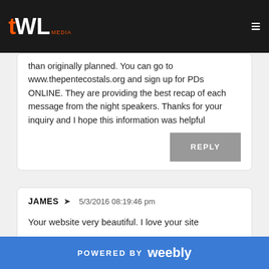TWL logo and navigation bar
than originally planned. You can go to www.thepentecostals.org and sign up for PDs ONLINE. They are providing the best recap of each message from the night speakers. Thanks for your inquiry and I hope this information was helpful
REPLY
JAMES → 5/3/2016 08:19:46 pm
Your website very beautiful. I love your site
REPLY
POWERED BY weebly